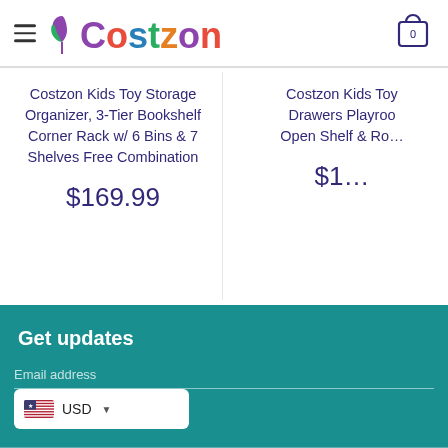Costzon — hamburger menu, logo, cart icon with 0
Costzon Kids Toy Storage Organizer, 3-Tier Bookshelf Corner Rack w/ 6 Bins & 7 Shelves Free Combination
$169.99
Costzon Kids Toy Drawers Playroom Open Shelf & Ro…
$1…
Get updates
Email address
USD